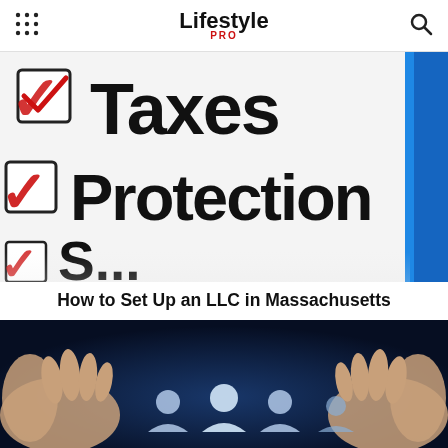Lifestyle PRO
[Figure (photo): Close-up of a checklist clipboard showing checkboxes checked in red next to the words 'Taxes' and 'Protection', with a third item starting with 'S' partially visible at the bottom, against a blue-edged clipboard background.]
How to Set Up an LLC in Massachusetts
[Figure (photo): Two hands reaching toward each other from opposite sides, framing several small illuminated human figure icons on a dark navy blue background, representing business networking or LLC membership.]